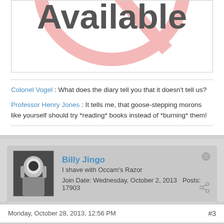[Figure (illustration): Partially visible 'Not Available' image with large bold text and a pink circle/ban symbol on white background]
Colonel Vogel : What does the diary tell you that it doesn't tell us?
Professor Henry Jones : It tells me, that goose-stepping morons like yourself should try *reading* books instead of *burning* them!
Billy Jingo
I shave with Occam's Razor
Join Date: Wednesday, October 2, 2013   Posts: 17903
Monday, October 28, 2013, 12:56 PM
#3